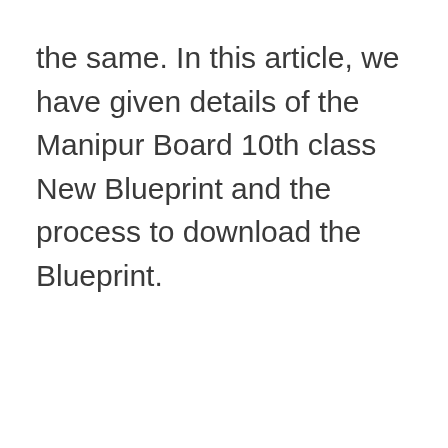the same. In this article, we have given details of the Manipur Board 10th class New Blueprint and the process to download the Blueprint.